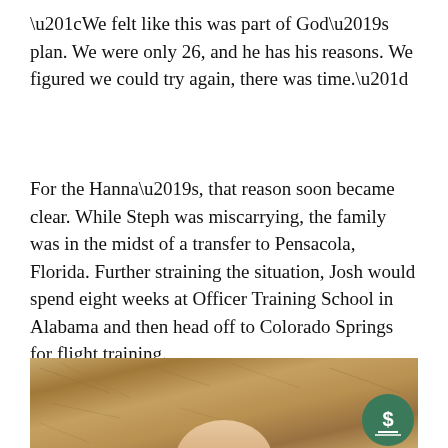“We felt like this was part of God’s plan. We were only 26, and he has his reasons. We figured we could try again, there was time.”
For the Hanna’s, that reason soon became clear. While Steph was miscarrying, the family was in the midst of a transfer to Pensacola, Florida. Further straining the situation, Josh would spend eight weeks at Officer Training School in Alabama and then head off to Colorado Springs for flight training.
[Figure (photo): A warm-toned photograph showing a baby or young child being held, with an ornate vintage or decorative background. A green circular donation button with a dollar sign icon is overlaid in the bottom right corner.]